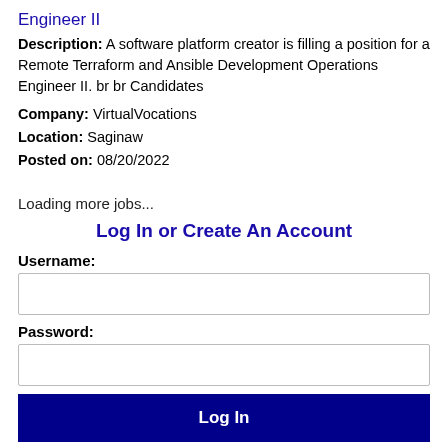Engineer II
Description: A software platform creator is filling a position for a Remote Terraform and Ansible Development Operations Engineer II. br br Candidates
Company: VirtualVocations
Location: Saginaw
Posted on: 08/20/2022
Loading more jobs...
Log In or Create An Account
Username:
Password:
Log In